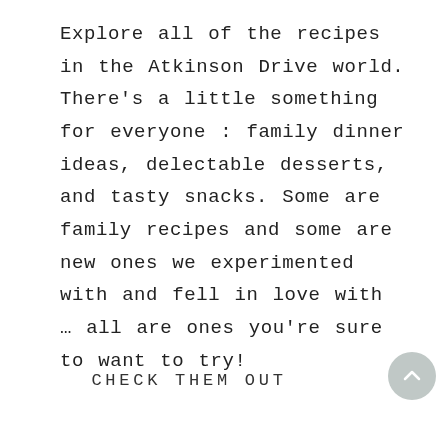Explore all of the recipes in the Atkinson Drive world. There's a little something for everyone : family dinner ideas, delectable desserts, and tasty snacks. Some are family recipes and some are new ones we experimented with and fell in love with … all are ones you're sure to want to try!
CHECK THEM OUT